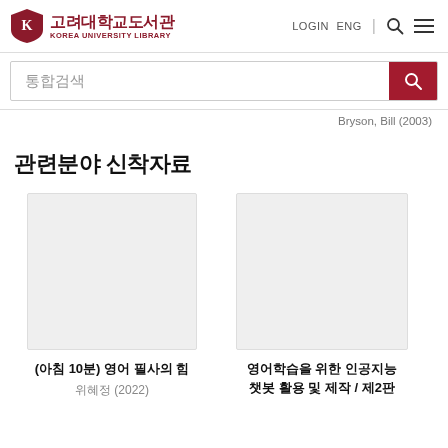고려대학교도서관 KOREA UNIVERSITY LIBRARY | LOGIN ENG
통합검색
Bryson, Bill (2003)
관련분야 신착자료
[Figure (other): Book cover placeholder – blank grey rectangle for (아침 10분) 영어 필사의 힘]
(아침 10분) 영어 필사의 힘
위혜정 (2022)
[Figure (other): Book cover placeholder – blank grey rectangle for 영어학습을 위한 인공지능 챗봇 활용 및 제작 / 제2판]
영어학습을 위한 인공지능 챗봇 활용 및 제작 / 제2판